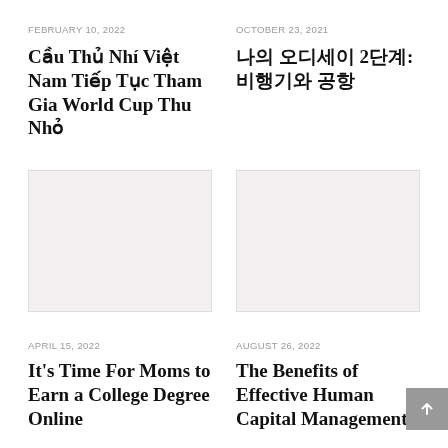FEBRUARY 10, 2022
Cầu Thủ Nhí Việt Nam Tiếp Tục Tham Gia World Cup Thu Nhỏ
OCTOBER 23, 2021
나의 오디세이 2단계: 비행기와 공항
[Figure (photo): Placeholder image (light beige/gray rectangle) for article about Vietnamese youth soccer players]
[Figure (photo): Placeholder image (light beige/gray rectangle) for article about Korean odyssey]
APRIL 15, 2022
It's Time For Moms to Earn a College Degree Online
AUGUST 26, 2022
The Benefits of Effective Human Capital Management